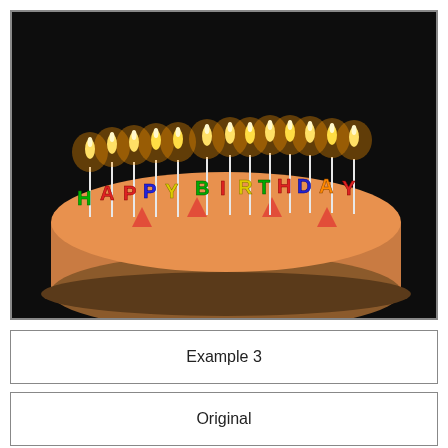[Figure (photo): A birthday cake with lit candles spelling out HAPPY BIRTHDAY in colorful letter-shaped candles, photographed against a dark background. The candles are illuminated with orange-yellow flames.]
Example 3
Original